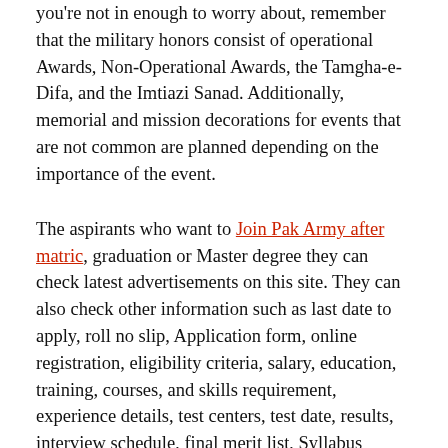you're not in enough to worry about, remember that the military honors consist of operational Awards, Non-Operational Awards, the Tamgha-e-Difa, and the Imtiazi Sanad. Additionally, memorial and mission decorations for events that are not common are planned depending on the importance of the event.
The aspirants who want to Join Pak Army after matric, graduation or Master degree they can check latest advertisements on this site. They can also check other information such as last date to apply, roll no slip, Application form, online registration, eligibility criteria, salary, education, training, courses, and skills requirement, experience details, test centers, test date, results, interview schedule, final merit list, Syllabus...